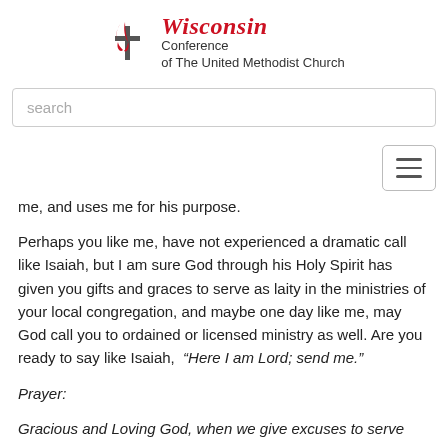[Figure (logo): Wisconsin Conference of The United Methodist Church logo with flame and cross icon, red script 'Wisconsin' text and black serif 'Conference of The United Methodist Church']
search
[Figure (other): Hamburger menu button with three horizontal lines]
me, and uses me for his purpose.
Perhaps you like me, have not experienced a dramatic call like Isaiah, but I am sure God through his Holy Spirit has given you gifts and graces to serve as laity in the ministries of your local congregation, and maybe one day like me, may God call you to ordained or licensed ministry as well. Are you ready to say like Isaiah, “Here I am Lord; send me.”
Prayer:
Gracious and Loving God, when we give excuses to serve you